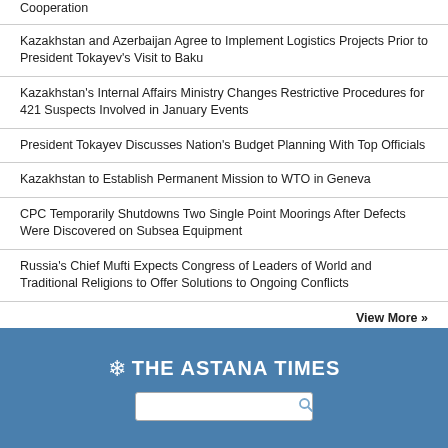Cooperation
Kazakhstan and Azerbaijan Agree to Implement Logistics Projects Prior to President Tokayev's Visit to Baku
Kazakhstan's Internal Affairs Ministry Changes Restrictive Procedures for 421 Suspects Involved in January Events
President Tokayev Discusses Nation's Budget Planning With Top Officials
Kazakhstan to Establish Permanent Mission to WTO in Geneva
CPC Temporarily Shutdowns Two Single Point Moorings After Defects Were Discovered on Subsea Equipment
Russia's Chief Mufti Expects Congress of Leaders of World and Traditional Religions to Offer Solutions to Ongoing Conflicts
View More »
[Figure (logo): The Astana Times logo with snowflake icon and search bar on blue background]